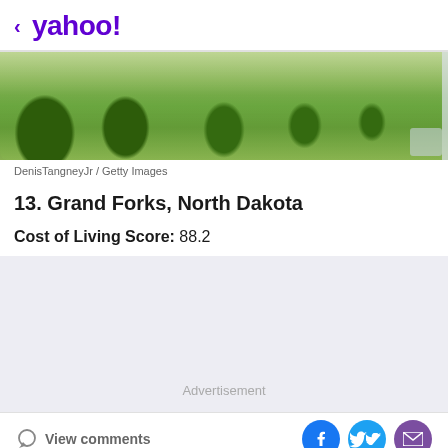< yahoo!
[Figure (photo): Aerial or street view of a green landscaped area in Grand Forks, North Dakota with trees and hedges]
DenisTangneyJr / Getty Images
13. Grand Forks, North Dakota
Cost of Living Score: 88.2
[Figure (other): Advertisement placeholder area]
View comments
[Figure (other): Social share icons: Facebook, Twitter, Mail]